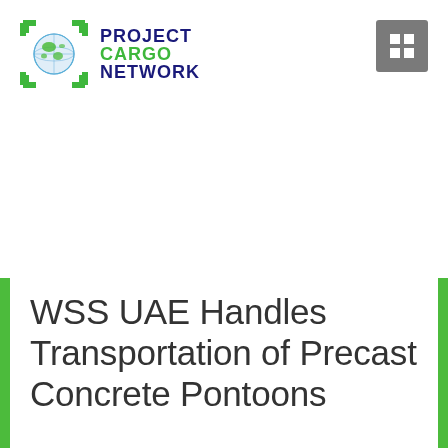[Figure (logo): Project Cargo Network logo with globe icon and green/navy text]
[Figure (other): Grey square menu/hamburger icon in top right corner]
WSS UAE Handles Transportation of Precast Concrete Pontoons